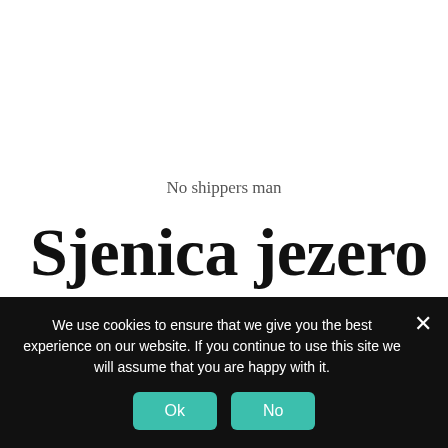No shippers man
Sjenica jezero
I took a tourist boat on the Uvac river and got off
We use cookies to ensure that we give you the best experience on our website. If you continue to use this site we will assume that you are happy with it.